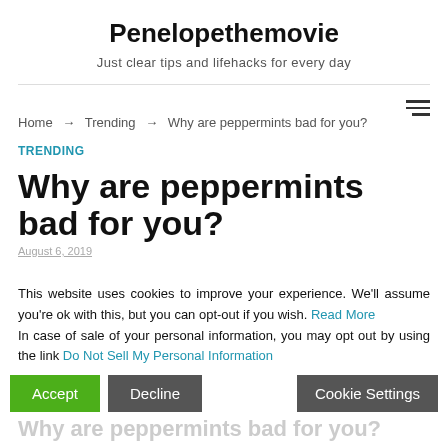Penelopethemovie
Just clear tips and lifehacks for every day
Home → Trending → Why are peppermints bad for you?
TRENDING
Why are peppermints bad for you?
This website uses cookies to improve your experience. We'll assume you're ok with this, but you can opt-out if you wish. Read More
In case of sale of your personal information, you may opt out by using the link Do Not Sell My Personal Information
Accept | Decline | Cookie Settings
Why are peppermints bad for you?